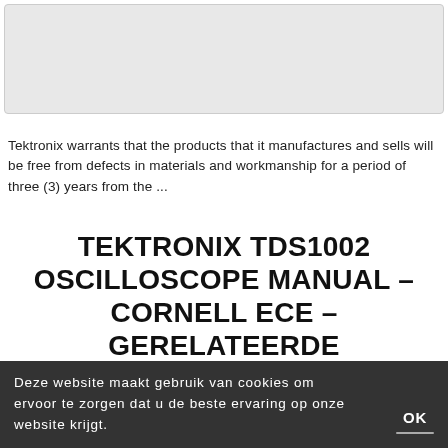[Figure (screenshot): Screenshot thumbnail of a document page, light grey background]
Tektronix warrants that the products that it manufactures and sells will be free from defects in materials and workmanship for a period of three (3) years from the ...
TEKTRONIX TDS1002 OSCILLOSCOPE MANUAL – CORNELL ECE – GERELATEERDE DOCUMENTEN
TEKTRONIX TDS1002 OSCILLOSCOPE MANUAL – CORNELL ECE
https://people.ece.cornell.edu/land/courses/ece4760/equ
Tektronix warrants that the products that it manufactures and sells
Deze website maakt gebruik van cookies om ervoor te zorgen dat u de beste ervaring op onze website krijgt.